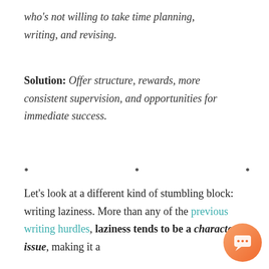who's not willing to take time planning, writing, and revising.
Solution: Offer structure, rewards, more consistent supervision, and opportunities for immediate success.
• • •
Let's look at a different kind of stumbling block: writing laziness. More than any of the previous writing hurdles, laziness tends to be a character issue, making it a